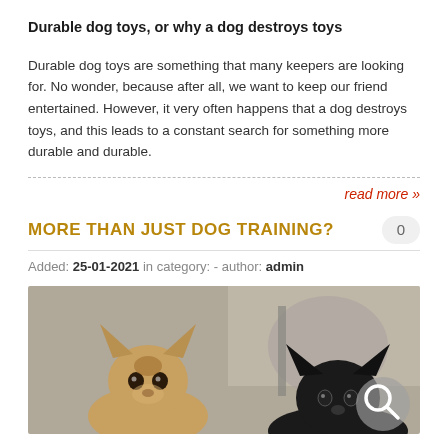Durable dog toys, or why a dog destroys toys
Durable dog toys are something that many keepers are looking for. No wonder, because after all, we want to keep our friend entertained. However, it very often happens that a dog destroys toys, and this leads to a constant search for something more durable and durable.
read more »
MORE THAN JUST DOG TRAINING?
Added: 25-01-2021 in category: - author: admin
[Figure (photo): Two dogs photographed close-up, one tan/fawn and one black, with a blurred background. A magnifier/search icon overlay appears in the bottom right corner.]